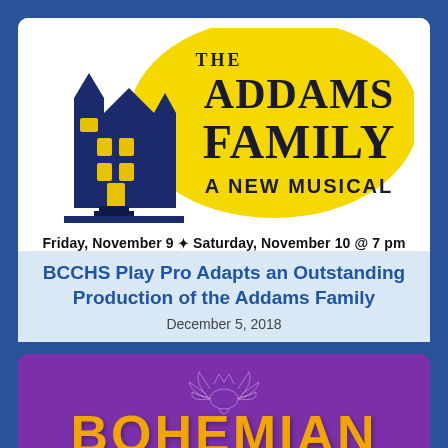[Figure (illustration): The Addams Family A New Musical logo with haunted house silhouette on yellow moon background]
Friday, November 9 ✦ Saturday, November 10 @ 7 pm
BCCHS Play Pro Adapts an Outstanding Production of the Addams Family
December 5, 2018
[Figure (illustration): Bohemian Rhapsody purple background with Queen band emblem and BOHEMIAN text in orange]